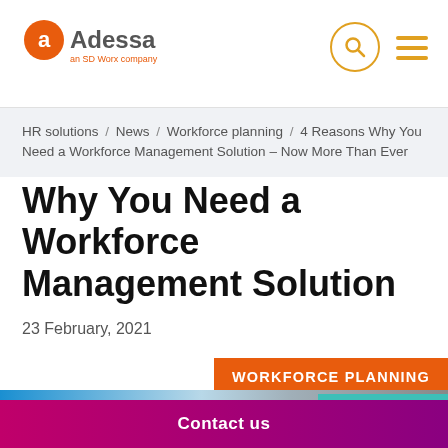Adessa — an SD Worx company
HR solutions / News / Workforce planning / 4 Reasons Why You Need a Workforce Management Solution – Now More Than Ever
Why You Need a Workforce Management Solution
23 February, 2021
WORKFORCE PLANNING
[Figure (photo): Clouds and sky hero image with 'We're hiring' teal badge overlay]
Contact us